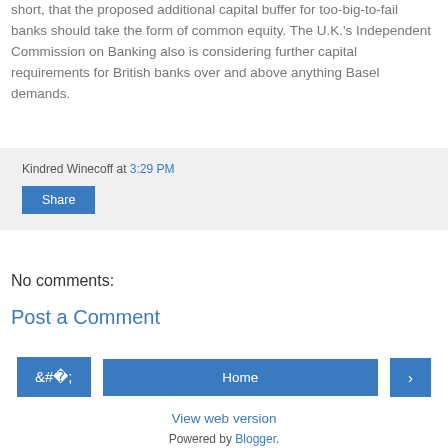short, that the proposed additional capital buffer for too-big-to-fail banks should take the form of common equity. The U.K.'s Independent Commission on Banking also is considering further capital requirements for British banks over and above anything Basel demands.
Kindred Winecoff at 3:29 PM
Share
No comments:
Post a Comment
Home
View web version
Powered by Blogger.